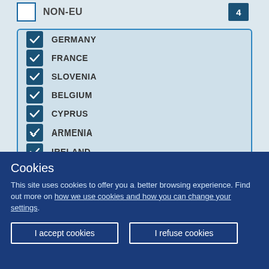NON-EU 4
GERMANY (checked)
FRANCE (checked)
SLOVENIA (checked)
BELGIUM (checked)
CYPRUS (checked)
ARMENIA (checked)
IRELAND (checked)
LATVIA (checked)
Cookies
This site uses cookies to offer you a better browsing experience. Find out more on how we use cookies and how you can change your settings.
I accept cookies
I refuse cookies